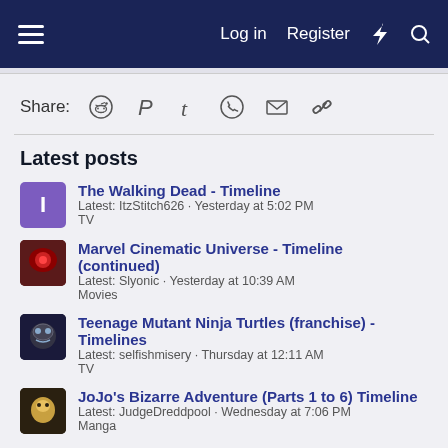Log in   Register
Share:
Latest posts
The Walking Dead - Timeline
Latest: ItzStitch626 · Yesterday at 5:02 PM
TV
Marvel Cinematic Universe - Timeline (continued)
Latest: Slyonic · Yesterday at 10:39 AM
Movies
Teenage Mutant Ninja Turtles (franchise) - Timelines
Latest: selfishmisery · Thursday at 12:11 AM
TV
JoJo's Bizarre Adventure (Parts 1 to 6) Timeline
Latest: JudgeDreddpool · Wednesday at 7:06 PM
Manga